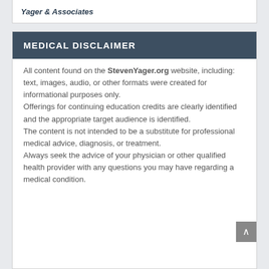Yager & Associates
MEDICAL DISCLAIMER
All content found on the StevenYager.org website, including: text, images, audio, or other formats were created for informational purposes only.
Offerings for continuing education credits are clearly identified and the appropriate target audience is identified.
The content is not intended to be a substitute for professional medical advice, diagnosis, or treatment.
Always seek the advice of your physician or other qualified health provider with any questions you may have regarding a medical condition.